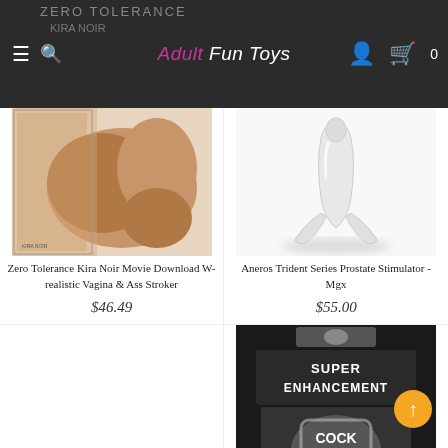Adult Fun Toys - online adult toy store
[Figure (photo): Product image: Zero Tolerance Kira Noir movie download with realistic vagina and ass stroker masturbator toy with packaging]
Zero Tolerance Kira Noir Movie Download W-realistic Vagina & Ass Stroker
$46.49
[Figure (photo): Product image: Aneros Trident Series Prostate Stimulator MGX white device on white background]
Aneros Trident Series Prostate Stimulator - Mgx
$55.00
[Figure (photo): Product image: Super Enhancement Cock Cage Enhancer product packaging with black background and text]